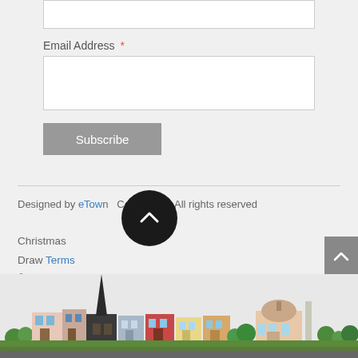Email Address *
Subscribe
Designed by eTown  Copyright © All rights reserved
Christmas
Draw Terms & Conditions
[Figure (illustration): Illustrated townscape panorama showing colorful buildings, a church spire, trees, and a domed building along a street]